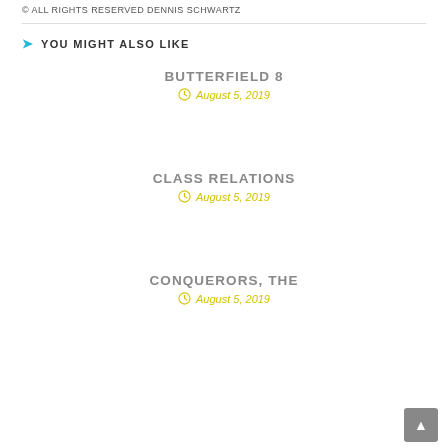© ALL RIGHTS RESERVED DENNIS SCHWARTZ
YOU MIGHT ALSO LIKE
BUTTERFIELD 8
August 5, 2019
CLASS RELATIONS
August 5, 2019
CONQUERORS, THE
August 5, 2019